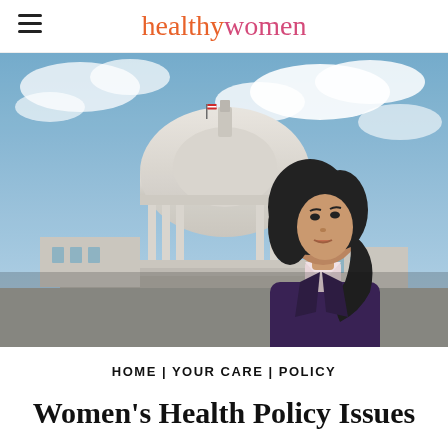healthywomen
[Figure (photo): A woman of Asian descent in a dark purple blazer stands confidently in front of the United States Capitol building dome under a partly cloudy sky. She is looking upward and to the side.]
HOME | YOUR CARE | POLICY
Women's Health Policy Issues